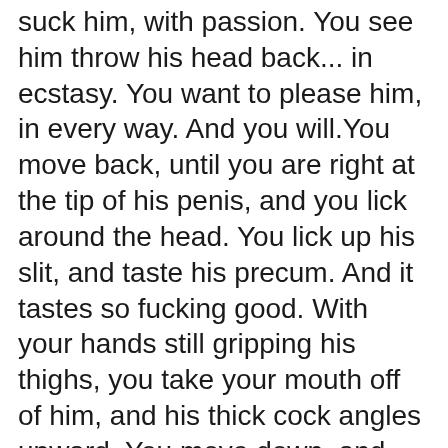suck him, with passion. You see him throw his head back... in ecstasy. You want to please him, in every way. And you will.You move back, until you are right at the tip of his penis, and you lick around the head. You lick up his slit, and taste his precum. And it tastes so fucking good. With your hands still gripping his thighs, you take your mouth off of him, and his thick cock angles upward. You move down, and run your tongue from the base of his shaft to the tip of him, and engulf him again.He gasps out loud. You run your hands up his body, wanting to feel all of him. You can feel the ridges of his tight abs, and his chest, as you caress his upper body. And as you feel him up, his cock travels deeper into your hungry mouth. You close your eyes and concentrate, and you relax your throat, and begin to take more of him in.You want him now. You want every inch of his beautiful penis in your mouth. You reach around and grab his firm ass, and you feel his hand at the back of your head, push escort amasya your mouth further onto his cock, until it is deep in your throat. Tears fall from the corners of your eyes as you take him to the hilt. You gag, and you feel like you are about to choke, so he pulls you back.His cock pops from your lips, and you breathe heav...